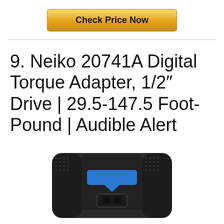[Figure (other): Golden 'Check Price Now' button with gradient background]
9. Neiko 20741A Digital Torque Adapter, 1/2″ Drive | 29.5-147.5 Foot-Pound | Audible Alert
[Figure (photo): Photo of Neiko 20741A Digital Torque Adapter showing top view with blue connector piece on black device body]